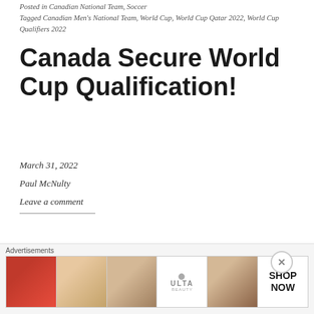Posted in Canadian National Team, Soccer
Tagged Canadian Men's National Team, World Cup, World Cup Qatar 2022, World Cup Qualifiers 2022
Canada Secure World Cup Qualification!
March 31, 2022
Paul McNulty
Leave a comment
[Figure (photo): Partial photo of a soccer celebration, blurred red and black tones with what appears to be a gloved fist raised]
Advertisements
[Figure (other): Advertisement banner showing makeup/beauty products including lips, brush, eye, Ulta Beauty logo, face, and SHOP NOW text]